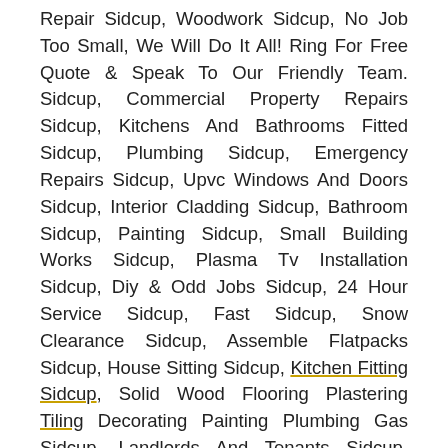Repair Sidcup, Woodwork Sidcup, No Job Too Small, We Will Do It All! Ring For Free Quote & Speak To Our Friendly Team. Sidcup, Commercial Property Repairs Sidcup, Kitchens And Bathrooms Fitted Sidcup, Plumbing Sidcup, Emergency Repairs Sidcup, Upvc Windows And Doors Sidcup, Interior Cladding Sidcup, Bathroom Sidcup, Painting Sidcup, Small Building Works Sidcup, Plasma Tv Installation Sidcup, Diy & Odd Jobs Sidcup, 24 Hour Service Sidcup, Fast Sidcup, Snow Clearance Sidcup, Assemble Flatpacks Sidcup, House Sitting Sidcup, Kitchen Fitting Sidcup, Solid Wood Flooring Plastering Tiling Decorating Painting Plumbing Gas Sidcup, Landlords And Tenants Sidcup, Decorators Sidcup, Boiler Repairs Sidcup, Kitchen Sidcup, Handyman South East Sidcup, Building Sidcup, Tiling/Plastering Sidcup, Trust A Trader Sidcup, Small Repairs Sidcup, Conservatory Roofs, Gutters And Window Cleaning Sidcup, Kitchen & Bathroom Renovations Sidcup, Basic Plumbing Sidcup, Minor Electrical Issues Sidcup, Kitchen Fitters Sidcup, Commercial Maintenance Services Sidcup, Garden Services Sidcup